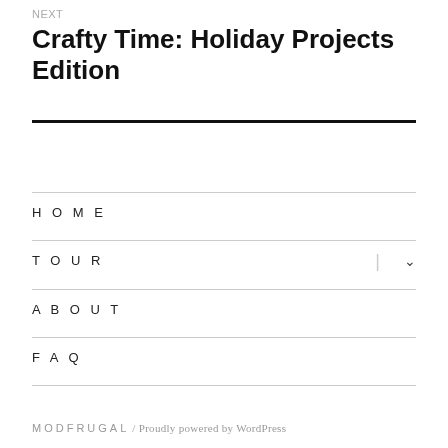NEXT
Crafty Time: Holiday Projects Edition
HOME
TOUR
ABOUT
FAQ
MODFRUGAL / Proudly powered by WordPress